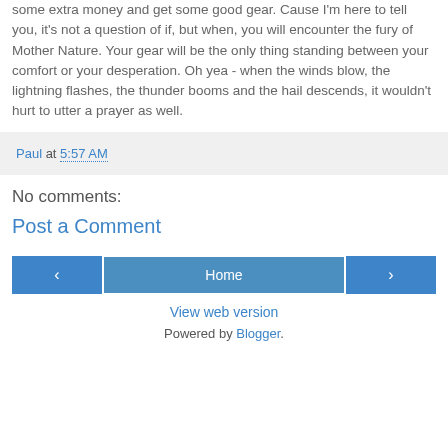some extra money and get some good gear. Cause I'm here to tell you, it's not a question of if, but when, you will encounter the fury of Mother Nature. Your gear will be the only thing standing between your comfort or your desperation. Oh yea - when the winds blow, the lightning flashes, the thunder booms and the hail descends, it wouldn't hurt to utter a prayer as well.
Paul at 5:57 AM
No comments:
Post a Comment
‹  Home  › View web version Powered by Blogger.